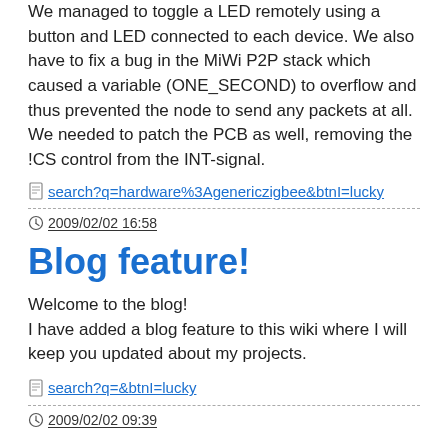We managed to toggle a LED remotely using a button and LED connected to each device. We also have to fix a bug in the MiWi P2P stack which caused a variable (ONE_SECOND) to overflow and thus prevented the node to send any packets at all. We needed to patch the PCB as well, removing the !CS control from the INT-signal.
search?q=hardware%3Agenericzigbee&amp;btnI=lucky
2009/02/02 16:58
Blog feature!
Welcome to the blog!
I have added a blog feature to this wiki where I will keep you updated about my projects.
search?q=&amp;btnI=lucky
2009/02/02 09:39